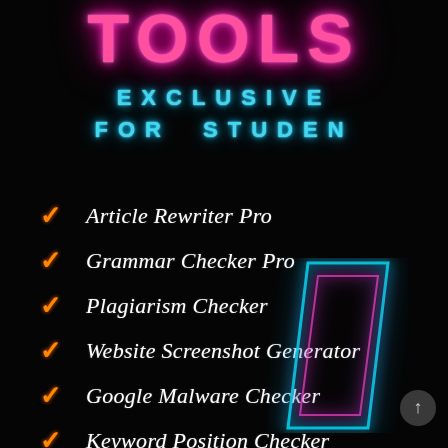TOOLS
EXCLUSIVE FOR STUDEN
Article Rewriter Pro
Grammar Checker Pro
Plagiarism Checker
Website Screenshot Generator
Google Malware Checker
Keyword Position Checker
[Figure (illustration): Neon glowing parallelogram/rhombus shape in cyan and pink/magenta colors overlapping the lower portion of the list]